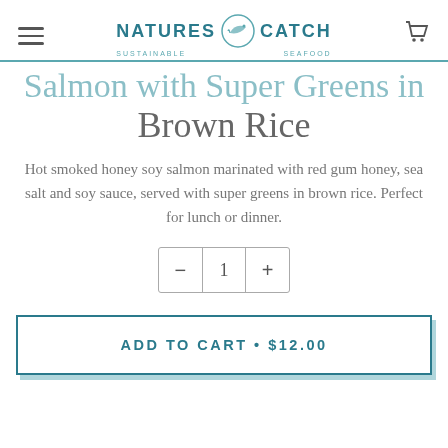NATURES CATCH SUSTAINABLE SEAFOOD
Salmon with Super Greens in Brown Rice
Hot smoked honey soy salmon marinated with red gum honey, sea salt and soy sauce, served with super greens in brown rice. Perfect for lunch or dinner.
- 1 +
ADD TO CART • $12.00